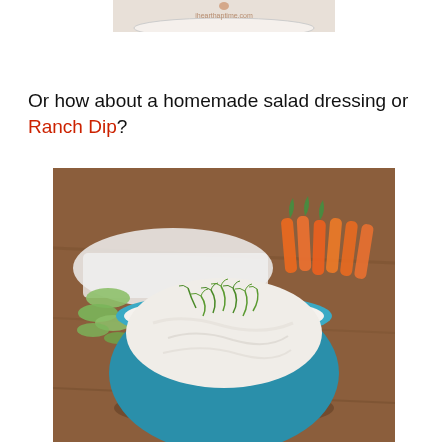[Figure (photo): Partial top image showing a plate or dish with 'ihearthaptime.com' watermark text]
Or how about a homemade salad dressing or Ranch Dip?
[Figure (photo): A blue bowl filled with creamy ranch dip garnished with fresh dill, surrounded by vegetables including carrots, broccoli, and snap peas on a wooden surface]